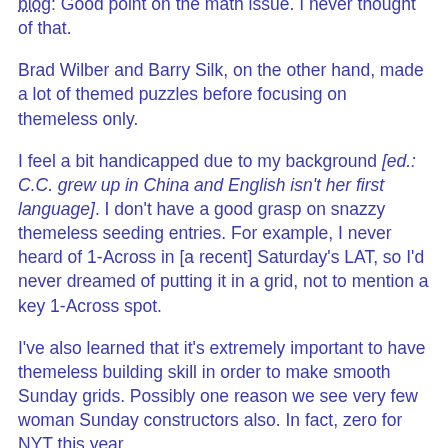blog: Good point on the math issue. I never thought of that.
Brad Wilber and Barry Silk, on the other hand, made a lot of themed puzzles before focusing on themeless only.
I feel a bit handicapped due to my background [ed.: C.C. grew up in China and English isn't her first language]. I don't have a good grasp on snazzy themeless seeding entries. For example, I never heard of 1-Across in [a recent] Saturday's LAT, so I'd never dreamed of putting it in a grid, not to mention a key 1-Across spot.
I've also learned that it's extremely important to have themeless building skill in order to make smooth Sunday grids. Possibly one reason we see very few woman Sunday constructors also. In fact, zero for NYT this year.
Elizabeth Gorski, second-most prolific NY Times